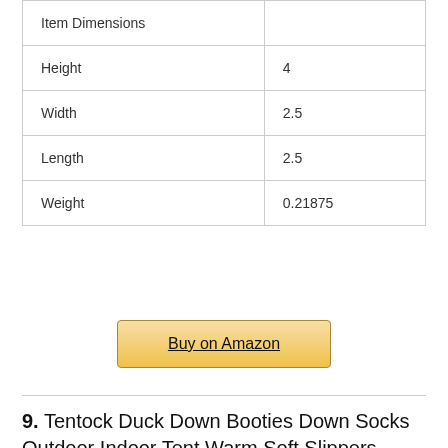|  |  |
| --- | --- |
| Item Dimensions |  |
| Height | 4 |
| Width | 2.5 |
| Length | 2.5 |
| Weight | 0.21875 |
Buy on Amazon
9. Tentock Duck Down Booties Down Socks Outdoor Indoor Tent Warm Soft Slippers